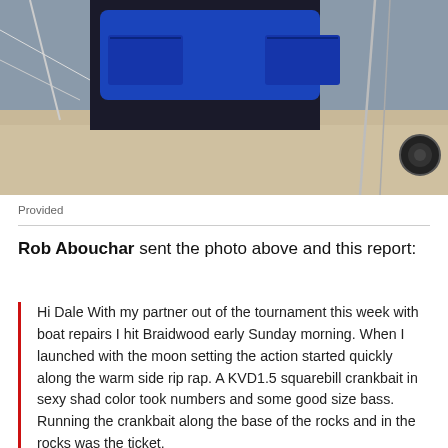[Figure (photo): Photo of a person wearing a blue and black fishing vest/life jacket, holding fishing equipment, standing near a boat on a rocky shoreline]
Provided
Rob Abouchar sent the photo above and this report:
Hi Dale With my partner out of the tournament this week with boat repairs I hit Braidwood early Sunday morning. When I launched with the moon setting the action started quickly along the warm side rip rap. A KVD1.5 squarebill crankbait in sexy shad color took numbers and some good size bass. Running the crankbait along the base of the rocks and in the rocks was the ticket.